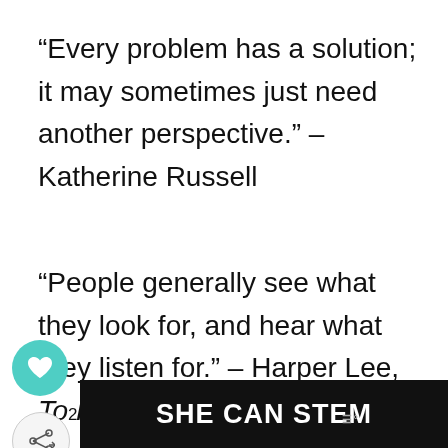“Every problem has a solution; it may sometimes just need another perspective.” – Katherine Russell
“People generally see what they look for, and hear what they listen for.” – Harper Lee, To Kill a Mockingbird
est discovery of all time is that a person can change his future by merely
[Figure (screenshot): UI overlay elements: heart/like button (teal circle), share button, superscript 2, WHAT'S NEXT navigation bar with home thumbnail, SHE CAN STEM advertisement banner at bottom]